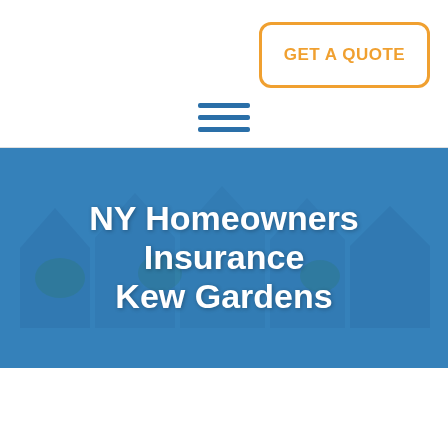GET A QUOTE
[Figure (other): Hamburger menu icon with three horizontal blue lines]
NY Homeowners Insurance Kew Gardens
[Figure (photo): Background image of suburban houses with blue tint overlay]